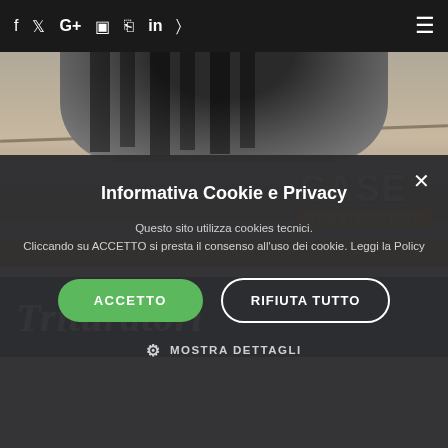f  Twitter  G+  YouTube  Instagram  in  RSS  ☰
[Figure (photo): CASE Construction Equipment advertisement banner showing heavy machinery tire on dirt/gravel surface with CASE CONSTRUCTION logo in white and orange]
[Figure (photo): Dark blue banner with bold italic white text beginning 'Trituratori']
Informativa Cookie e Privacy
Questo sito utilizza cookies tecnici.
Cliccando su ACCETTO si presta il consenso all'uso dei cookie. Leggi la Policy
ACCETTO
RIFIUTA TUTTO
⚙ MOSTRA DETTAGLI